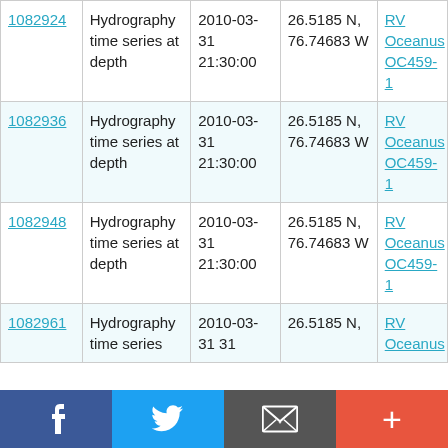| ID | Type | Date | Location | Vessel |
| --- | --- | --- | --- | --- |
| 1082924 | Hydrography time series at depth | 2010-03-31 21:30:00 | 26.5185 N, 76.74683 W | RV Oceanus OC459-1 |
| 1082936 | Hydrography time series at depth | 2010-03-31 21:30:00 | 26.5185 N, 76.74683 W | RV Oceanus OC459-1 |
| 1082948 | Hydrography time series at depth | 2010-03-31 21:30:00 | 26.5185 N, 76.74683 W | RV Oceanus OC459-1 |
| 1082961 | Hydrography time series | 2010-03-31 | 26.5185 N, | RV Oceanus |